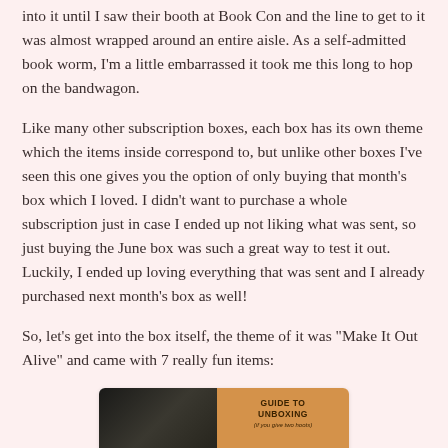into it until I saw their booth at Book Con and the line to get to it was almost wrapped around an entire aisle. As a self-admitted book worm, I'm a little embarrassed it took me this long to hop on the bandwagon.
Like many other subscription boxes, each box has its own theme which the items inside correspond to, but unlike other boxes I've seen this one gives you the option of only buying that month's box which I loved. I didn't want to purchase a whole subscription just in case I ended up not liking what was sent, so just buying the June box was such a great way to test it out. Luckily, I ended up loving everything that was sent and I already purchased next month's box as well!
So, let's get into the box itself, the theme of it was "Make It Out Alive" and came with 7 really fun items:
[Figure (photo): Photo of an unboxing scene: left half shows dark fabric/tissue paper, right half shows an orange/kraft-colored box insert labeled 'GUIDE TO UNBOXING (if you give two hoots)' with book-themed icons (magnifying glass, share, open book) at the bottom.]